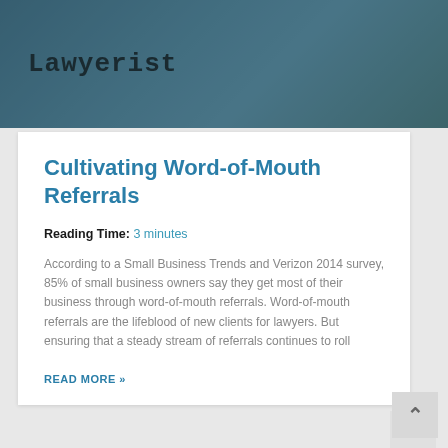[Figure (photo): Header banner image of a person working at a laptop, overlaid with a teal/blue semi-transparent banner containing the Lawyerist logo in monospace font]
Lawyerist
Cultivating Word-of-Mouth Referrals
Reading Time: 3 minutes
According to a Small Business Trends and Verizon 2014 survey, 85% of small business owners say they get most of their business through word-of-mouth referrals. Word-of-mouth referrals are the lifeblood of new clients for lawyers. But ensuring that a steady stream of referrals continues to roll
READ MORE »